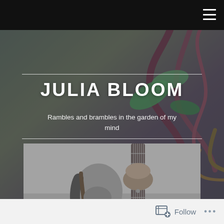≡
JULIA BLOOM
Rambles and brambles in the garden of my mind
[Figure (photo): Black and white photograph of a woman with braided hair playing a guitar, looking downward, captured from above and to the side]
Follow ...